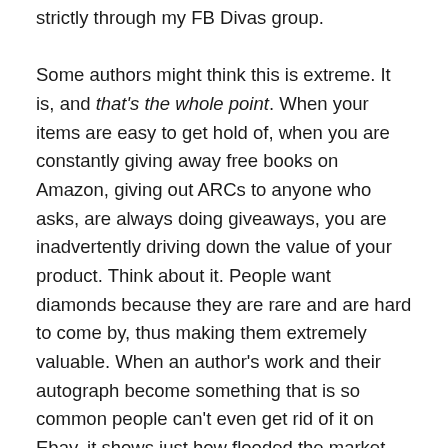strictly through my FB Divas group.

Some authors might think this is extreme. It is, and that's the whole point. When your items are easy to get hold of, when you are constantly giving away free books on Amazon, giving out ARCs to anyone who asks, are always doing giveaways, you are inadvertently driving down the value of your product. Think about it. People want diamonds because they are rare and are hard to come by, thus making them extremely valuable. When an author's work and their autograph become something that is so common people can't even get rid of it on Ebay, it shows just how flooded the market has become with something no one equates any type of value to.  Ask yourself, when was the last time you saw any of the great writers of this generation hopping through hundreds of FB groups trying to give away swag packs and autographed books? When